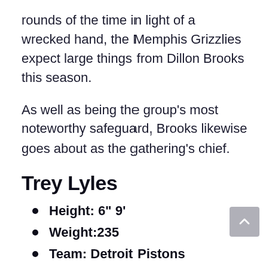rounds of the time in light of a wrecked hand, the Memphis Grizzlies expect large things from Dillon Brooks this season.
As well as being the group's most noteworthy safeguard, Brooks likewise goes about as the gathering's chief.
Trey Lyles
Height: 6" 9'
Weight:235
Team: Detroit Pistons
He has six years of NBA aptitude with four